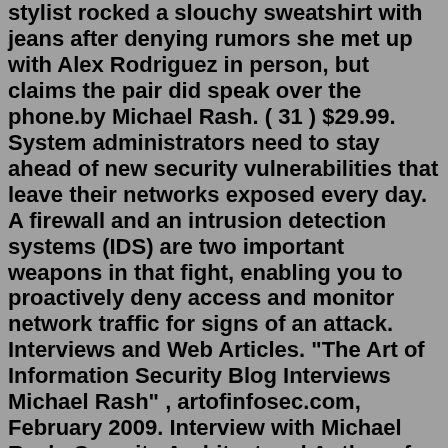stylist rocked a slouchy sweatshirt with jeans after denying rumors she met up with Alex Rodriguez in person, but claims the pair did speak over the phone.by Michael Rash. ( 31 ) $29.99. System administrators need to stay ahead of new security vulnerabilities that leave their networks exposed every day. A firewall and an intrusion detection systems (IDS) are two important weapons in that fight, enabling you to proactively deny access and monitor network traffic for signs of an attack. Interviews and Web Articles. "The Art of Information Security Blog Interviews Michael Rash" , artofinfosec.com, February 2009. Interview with Michael Rash, Security Architect and Author of "Linux Firewalls" , net-security.org, November 2007. Linux Firewalls Hold Up Under Application Layer Attacks , CRN, November 2007. Michael Rash. Published author on Linux firewalls and intrusion detection technologies. Michael is a Director of Security and Compliance at Extreme Networks where he is responsible for a strong security stance and